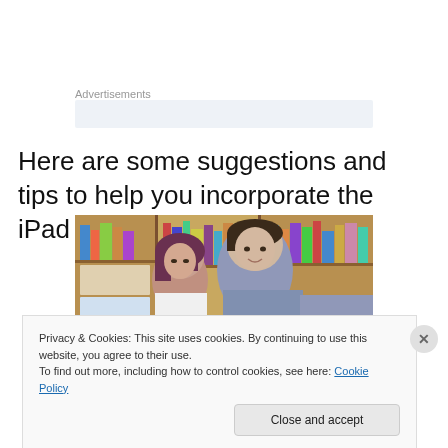Advertisements
Here are some suggestions and tips to help you incorporate the iPad at home:
[Figure (photo): Two students (a teenage boy and a woman with dark hair) leaning over something together, with bookshelves in the background]
Privacy & Cookies: This site uses cookies. By continuing to use this website, you agree to their use.
To find out more, including how to control cookies, see here: Cookie Policy
Close and accept